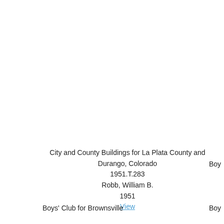City and County Buildings for La Plata County and Durango, Colorado
1951.T.283
Robb, William B.
1951
View
Boy...
Boys' Club for Brownsville
Boy...